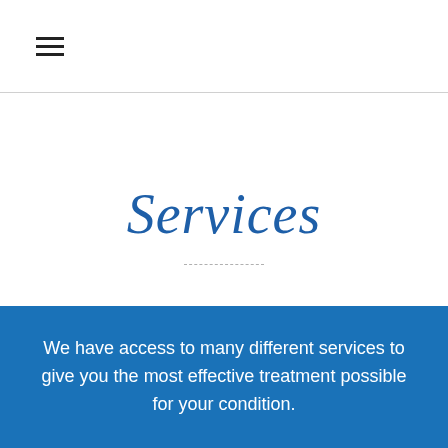≡
Services
We have access to many different services to give you the most effective treatment possible for your condition.